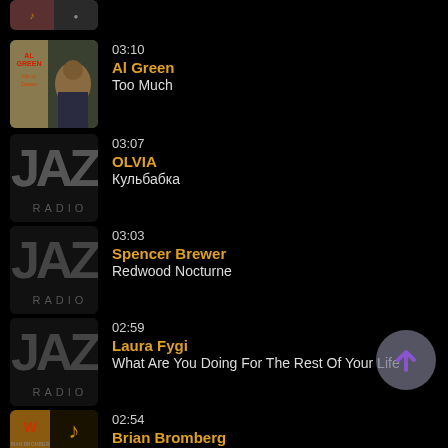[Figure (screenshot): Music playlist/radio app showing recently played tracks on dark background]
03:10 | Al Green | Too Much
03:07 | OLVIA | Кульбабка
03:03 | Spencer Brewer | Redwood Nocturne
02:59 | Laura Fygi | What Are You Doing For The Rest Of Your Life
02:54 | Brian Bromberg